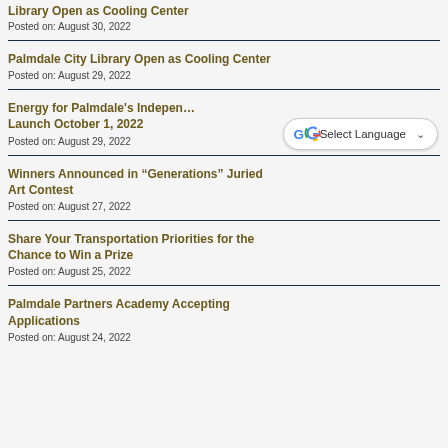Library Open as Cooling Center
Posted on: August 30, 2022
Palmdale City Library Open as Cooling Center
Posted on: August 29, 2022
Energy for Palmdale's Indepen… Launch October 1, 2022
Posted on: August 29, 2022
Winners Announced in “Generations” Juried Art Contest
Posted on: August 27, 2022
Share Your Transportation Priorities for the Chance to Win a Prize
Posted on: August 25, 2022
Palmdale Partners Academy Accepting Applications
Posted on: August 24, 2022